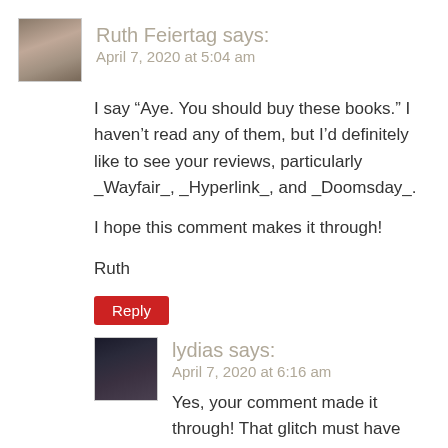Ruth Feiertag says:
April 7, 2020 at 5:04 am
I say “Aye. You should buy these books.” I haven’t read any of them, but I’d definitely like to see your reviews, particularly _Wayfair_, _Hyperlink_, and _Doomsday_.
I hope this comment makes it through!
Ruth
Reply
lydias says:
April 7, 2020 at 6:16 am
Yes, your comment made it through! That glitch must have been fixed by WordPress. Yay!
I’ll do my best to get copies of those